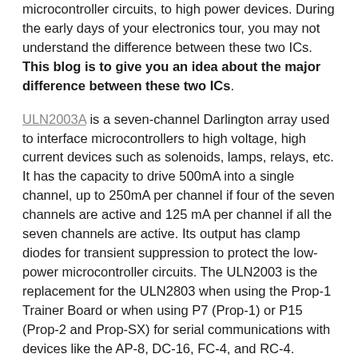microcontroller circuits, to high power devices. During the early days of your electronics tour, you may not understand the difference between these two ICs. This blog is to give you an idea about the major difference between these two ICs.
ULN2003A is a seven-channel Darlington array used to interface microcontrollers to high voltage, high current devices such as solenoids, lamps, relays, etc. It has the capacity to drive 500mA into a single channel, up to 250mA per channel if four of the seven channels are active and 125 mA per channel if all the seven channels are active. Its output has clamp diodes for transient suppression to protect the low-power microcontroller circuits. The ULN2003 is the replacement for the ULN2803 when using the Prop-1 Trainer Board or when using P7 (Prop-1) or P15 (Prop-2 and Prop-SX) for serial communications with devices like the AP-8, DC-16, FC-4, and RC-4.
ULN2803 is an eight-channel Darlington array used to interface microcontrollers to high voltage, high